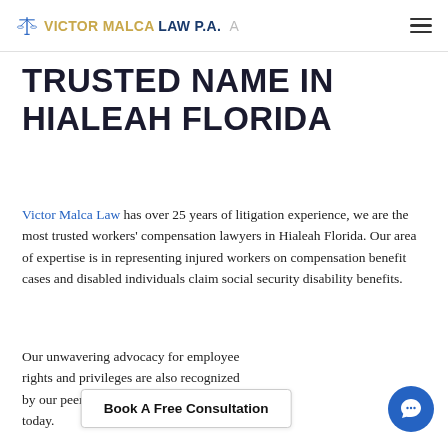VICTOR MALCA LAW P.A.
TRUSTED NAME IN HIALEAH FLORIDA
Victor Malca Law has over 25 years of litigation experience, we are the most trusted workers' compensation lawyers in Hialeah Florida. Our area of expertise is in representing injured workers on compensation benefit cases and disabled individuals claim social security disability benefits.
Our unwavering advocacy for employee rights and privileges are also recognized by our peers. Book a free consultation today.
Book A Free Consultation